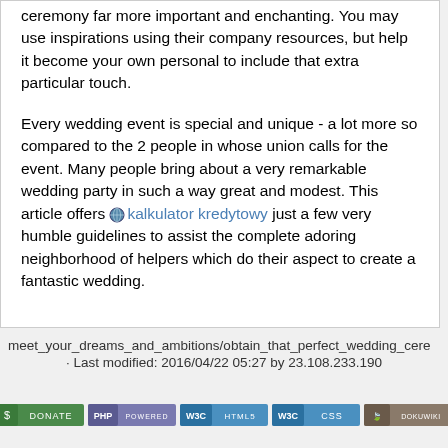ceremony far more important and enchanting. You may use inspirations using their company resources, but help it become your own personal to include that extra particular touch.
Every wedding event is special and unique - a lot more so compared to the 2 people in whose union calls for the event. Many people bring about a very remarkable wedding party in such a way great and modest. This article offers 🌐 kalkulator kredytowy just a few very humble guidelines to assist the complete adoring neighborhood of helpers which do their aspect to create a fantastic wedding.
meet_your_dreams_and_ambitions/obtain_that_perfect_wedding_cere · Last modified: 2016/04/22 05:27 by 23.108.233.190
[Figure (other): Row of five website badges: Donate, PHP Powered, W3C HTML5, W3C CSS, DokuWiki]